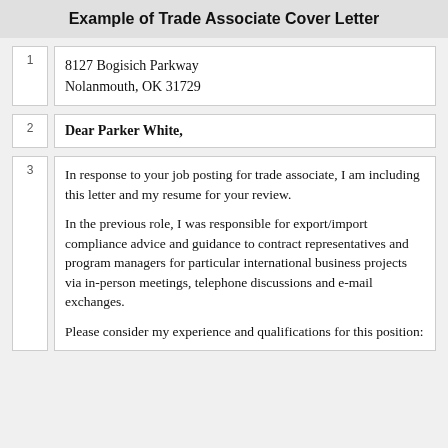Example of Trade Associate Cover Letter
8127 Bogisich Parkway
Nolanmouth, OK 31729
Dear Parker White,
In response to your job posting for trade associate, I am including this letter and my resume for your review.

In the previous role, I was responsible for export/import compliance advice and guidance to contract representatives and program managers for particular international business projects via in-person meetings, telephone discussions and e-mail exchanges.

Please consider my experience and qualifications for this position: